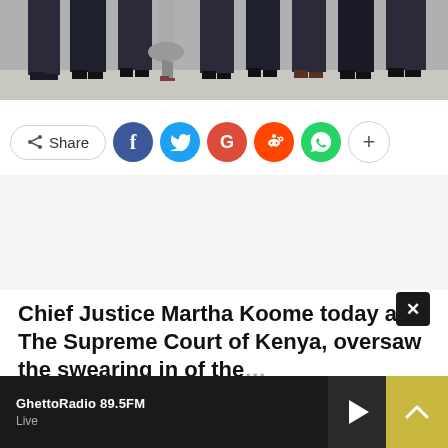[Figure (photo): Group of people in formal attire standing together, photo cropped showing lower bodies (torsos to feet) on steps]
[Figure (infographic): Social share bar with Share button, Facebook (blue circle), Twitter (light blue circle), Google+ (red circle), Reddit (orange-red circle), WhatsApp (green circle), and more (+) button]
Chief Justice Martha Koome today at The Supreme Court of Kenya, oversaw the swearing in of the...
GhettoRadio 89.5FM Live